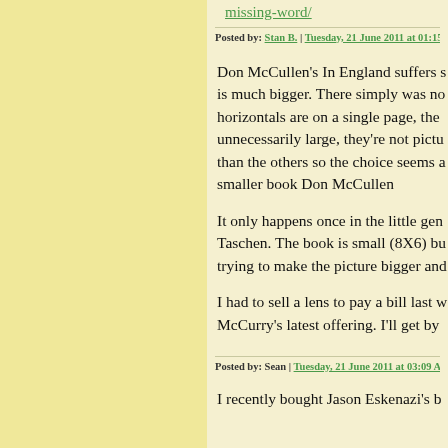missing-word/
Posted by: Stan B. | Tuesday, 21 June 2011 at 01:15 AM
Don McCullen's In England suffers s is much bigger. There simply was no horizontals are on a single page, the unnecessarily large, they're not pictu than the others so the choice seems a smaller book Don McCullen
It only happens once in the little gen Taschen. The book is small (8X6) bu trying to make the picture bigger and
I had to sell a lens to pay a bill last w McCurry's latest offering. I'll get by
Posted by: Sean | Tuesday, 21 June 2011 at 03:09 AM
I recently bought Jason Eskenazi's b